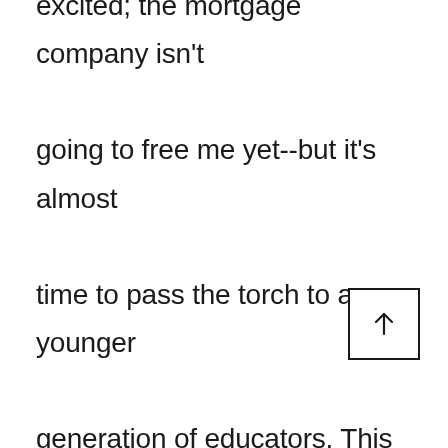excited; the mortgage company isn't going to free me yet--but it's almost time to pass the torch to a younger generation of educators. This is my dream view of how my post-GA life might look. I only wish that there were puppies in that picture. I can only hope that, in the future, you're all as lucky as I am. You ma love where you work, perhaps you won't be friends with your colleagues, it's